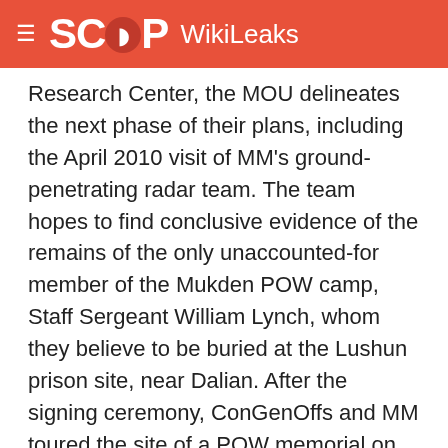SCOOP WikiLeaks
Research Center, the MOU delineates the next phase of their plans, including the April 2010 visit of MM's ground-penetrating radar team. The team hopes to find conclusive evidence of the remains of the only unaccounted-for member of the Mukden POW camp, Staff Sergeant William Lynch, whom they believe to be buried at the Lushun prison site, near Dalian. After the signing ceremony, ConGenOffs and MM toured the site of a POW memorial on the campus and the soon-to-be-opened Mukden Allied